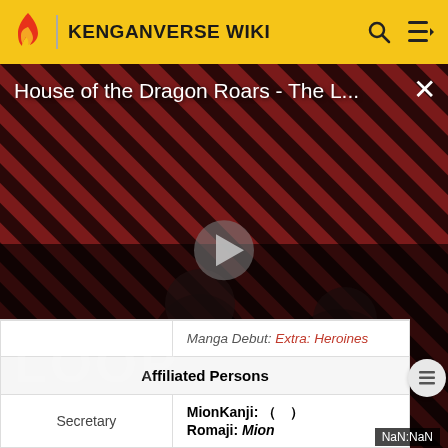KENGANVERSE WIKI
[Figure (screenshot): Video thumbnail for 'House of the Dragon Roars - The L...' with play button, diagonal stripe background in red and dark tones, two figures visible, THE LOOP text watermark, NaN:NaN timestamp, and X close button]
|  | Manga Debut: Extra: Heroines |
| Affiliated Persons | Affiliated Persons |
| Secretary | MionKanji: （）
Romaji: Mion |